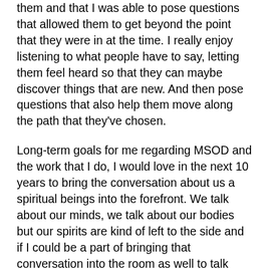them and that I was able to pose questions that allowed them to get beyond the point that they were in at the time. I really enjoy listening to what people have to say, letting them feel heard so that they can maybe discover things that are new. And then pose questions that also help them move along the path that they've chosen.
Long-term goals for me regarding MSOD and the work that I do, I would love in the next 10 years to bring the conversation about us a spiritual beings into the forefront. We talk about our minds, we talk about our bodies but our spirits are kind of left to the side and if I could be a part of bringing that conversation into the room as well to talk about being whole people and paying attention to who we are as spiritual beings I would be thrilled to be able to do that.
It had two significant impacts on my life that were external to me. One was, I went to the Naval Academy and finished there, that was a all-in program, once you were in nobody